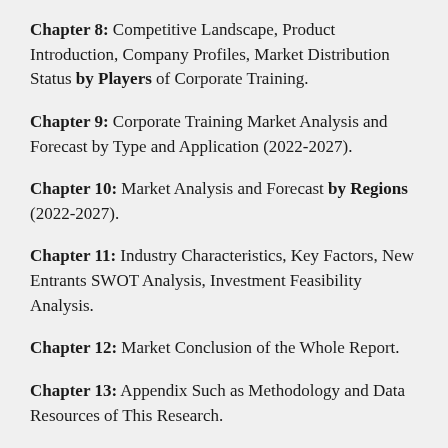Chapter 8: Competitive Landscape, Product Introduction, Company Profiles, Market Distribution Status by Players of Corporate Training.
Chapter 9: Corporate Training Market Analysis and Forecast by Type and Application (2022-2027).
Chapter 10: Market Analysis and Forecast by Regions (2022-2027).
Chapter 11: Industry Characteristics, Key Factors, New Entrants SWOT Analysis, Investment Feasibility Analysis.
Chapter 12: Market Conclusion of the Whole Report.
Chapter 13: Appendix Such as Methodology and Data Resources of This Research.